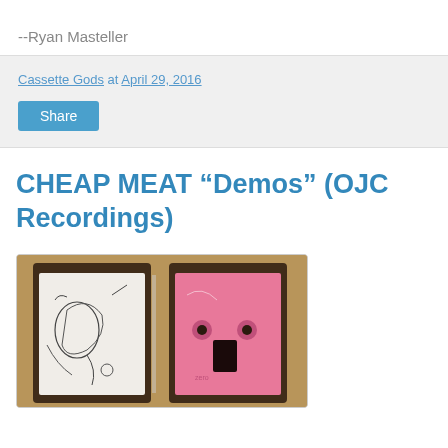--Ryan Masteller
Cassette Gods at April 29, 2016
Share
CHEAP MEAT “Demos” (OJC Recordings)
[Figure (photo): Two cassette tapes side by side in plastic cases on a brown background. The left cassette has a white label with hand-drawn doodle artwork, and the right cassette is pink.]